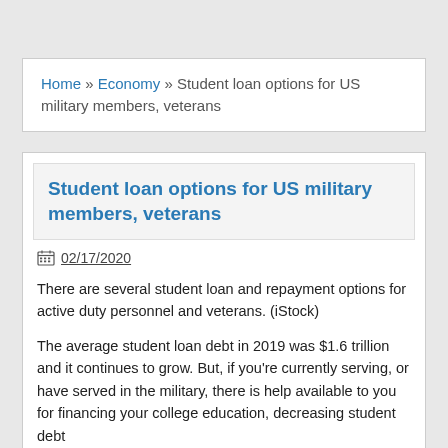Home » Economy » Student loan options for US military members, veterans
Student loan options for US military members, veterans
02/17/2020
There are several student loan and repayment options for active duty personnel and veterans. (iStock)
The average student loan debt in 2019 was $1.6 trillion and it continues to grow. But, if you're currently serving, or have served in the military, there is help available to you for financing your college education, decreasing student debt